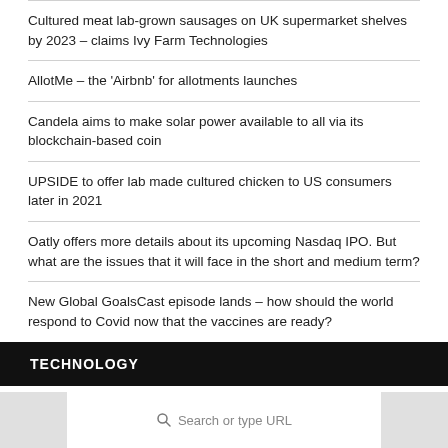Cultured meat lab-grown sausages on UK supermarket shelves by 2023 – claims Ivy Farm Technologies
AllotMe – the 'Airbnb' for allotments launches
Candela aims to make solar power available to all via its blockchain-based coin
UPSIDE to offer lab made cultured chicken to US consumers later in 2021
Oatly offers more details about its upcoming Nasdaq IPO. But what are the issues that it will face in the short and medium term?
New Global GoalsCast episode lands – how should the world respond to Covid now that the vaccines are ready?
TECHNOLOGY
[Figure (screenshot): Browser address bar showing search or type URL placeholder text]